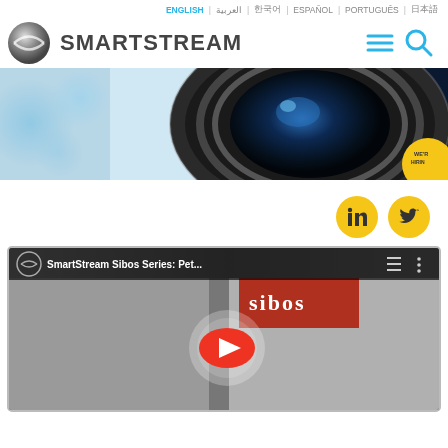ENGLISH | العربية | 한국어 | ESPAÑOL | PORTUGUÊS | 日本語
[Figure (logo): SmartStream logo with lens icon and navigation icons (hamburger menu, search)]
[Figure (photo): Hero banner showing a camera lens close-up with a 'We're Hiring' badge in the bottom right corner]
[Figure (other): Social media icons: LinkedIn and Twitter in yellow circles]
[Figure (screenshot): YouTube video embed showing SmartStream Sibos Series with two men in headsets, YouTube play button overlay, Sibos logo in background]